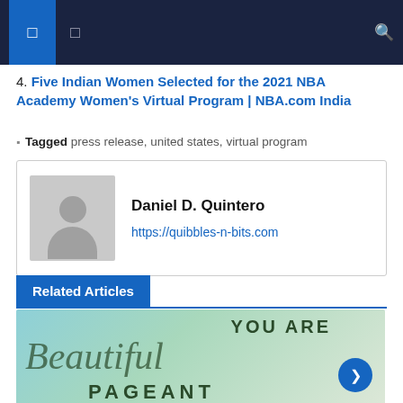Navigation bar with menu icons and search
4. Five Indian Women Selected for the 2021 NBA Academy Women's Virtual Program | NBA.com India
Tagged press release, united states, virtual program
Daniel D. Quintero
https://quibbles-n-bits.com
Related Articles
[Figure (photo): You Are Beautiful Pageant promotional image with script lettering and a person partially visible]